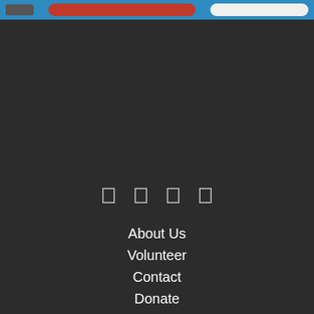[Figure (screenshot): Top navigation bar with blue background, hamburger menu on left, red pill-shaped button in center, white pill-shaped button on right]
[Figure (other): Four small rectangular social media icon placeholders arranged horizontally, outlined in light gray on dark background]
About Us
Volunteer
Contact
Donate
Appeals